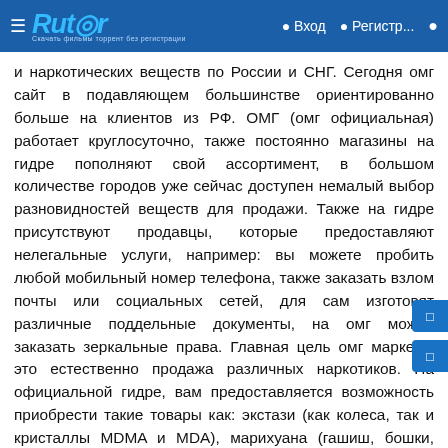☰ Rutor Вход Регистр...
и наркотических веществ по России и СНГ. Сегодня омг сайт в подавляющем большинстве ориентированно больше на клиентов из РФ. ОМГ (омг официальная) работает круглосуточно, также постоянно магазины на гидре пополняют свой ассортимент, в большом количестве городов уже сейчас доступен немалый выбор разновидностей веществ для продажи. Также на гидре присутствуют продавцы, которые предоставляют нелегальные услуги, например: вы можете пробить любой мобильный номер телефона, также заказать взлом почты или социальных сетей, для сам изготовят различные поддельные документы, на омг можно заказать зеркальные права. Главная цель омг маркет - это естественно продажа различных наркотиков. На официальной гидре, вам предоставляется возможность приобрести такие товары как: экстази (как колеса, так и кристаллы MDMA и MDA), марихуана (гашиш, бошки, трава), кокаин, марки (LSD и другие), грибы, спайсы, героин, скорость, регу и так далее.При покупке чего-либо на сайте омг, у вас есть